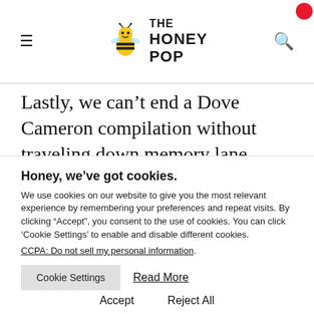THE HONEY POP
Lastly, we can’t end a Dove Cameron compilation without traveling down memory lane. ‘Better in Stereo’ brings back all the fun memories with friends and loved ones,
Honey, we’ve got cookies.
We use cookies on our website to give you the most relevant experience by remembering your preferences and repeat visits. By clicking “Accept”, you consent to the use of cookies. You can click ‘Cookie Settings’ to enable and disable different cookies.
CCPA: Do not sell my personal information.
Cookie Settings   Read More
Accept   Reject All